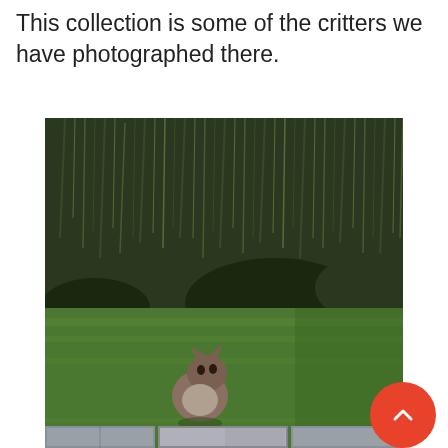This collection is some of the critters we have photographed there.
[Figure (photo): A cat sitting on a green lawn in front of tall wild grass and reeds. The scene is photographed outdoors in natural light with lush green vegetation in the background.]
[Figure (photo): Partial view of a bottom strip of photos, appearing to show outdoor scenes with grey tones, possibly buildings or fences.]